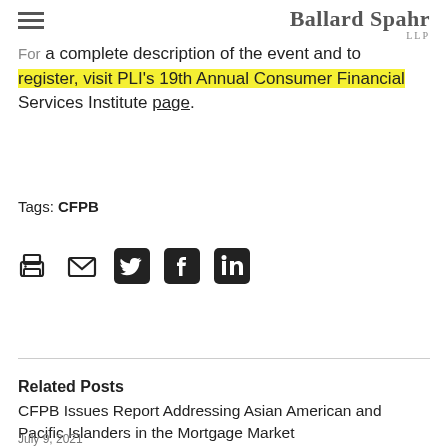[Figure (logo): Ballard Spahr LLP law firm logo in dark gray serif font]
For a complete description of the event and to register, visit PLI's 19th Annual Consumer Financial Services Institute page.
Tags: CFPB
[Figure (infographic): Social sharing icons: print, email, Twitter, Facebook, LinkedIn]
Related Posts
CFPB Issues Report Addressing Asian American and Pacific Islanders in the Mortgage Market
July 9, 2021